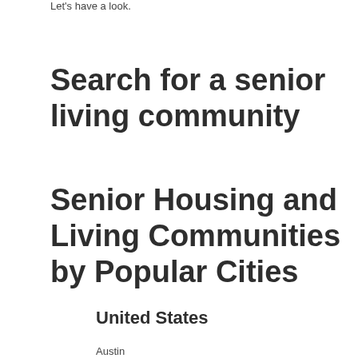Let's have a look.
Search for a senior living community
Senior Housing and Living Communities by Popular Cities
United States
Austin